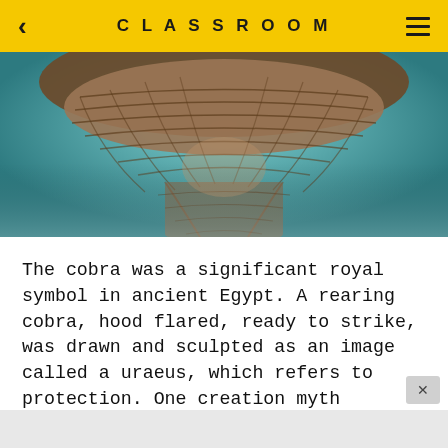CLASSROOM
[Figure (photo): Close-up photograph of an ancient Egyptian cobra/uraeus sculpture or artifact, showing detailed carved scales and a teal/turquoise background. The underside and hood of the rearing cobra are visible from below.]
The cobra was a significant royal symbol in ancient Egypt. A rearing cobra, hood flared, ready to strike, was drawn and sculpted as an image called a uraeus, which refers to protection. One creation myth relates that the sacred eye of a creator-god discovered it had been overshadowed by the sun and turned itself into a deadly cobra in a rage. To placate the eye, the god placed it on his